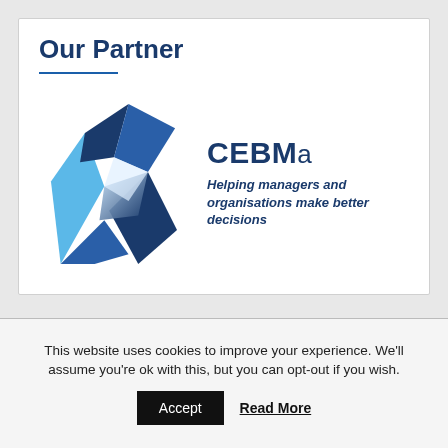Our Partner
[Figure (logo): CEBMa logo with blue geometric X-shape icon, bold text 'CEBMa' and tagline 'Helping managers and organisations make better decisions']
This website uses cookies to improve your experience. We'll assume you're ok with this, but you can opt-out if you wish.
Accept   Read More